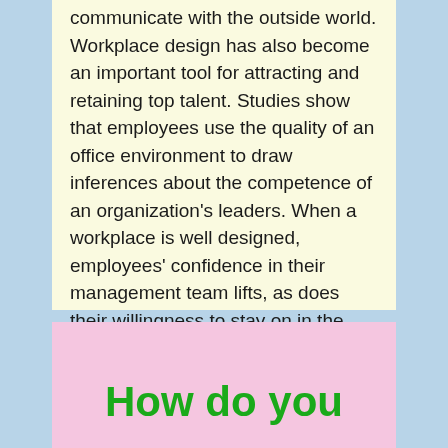communicate with the outside world. Workplace design has also become an important tool for attracting and retaining top talent. Studies show that employees use the quality of an office environment to draw inferences about the competence of an organization's leaders. When a workplace is well designed, employees' confidence in their management team lifts, as does their willingness to stay on in the years to come.
How do you